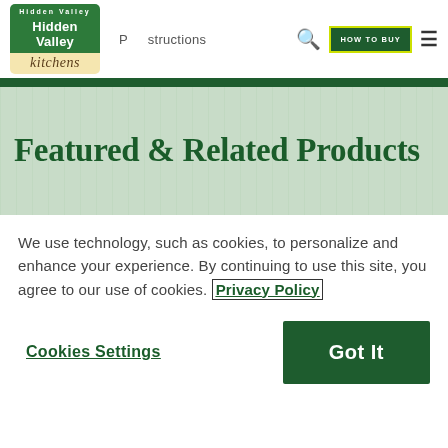[Figure (logo): Hidden Valley Kitchens logo — green flag banner with white text 'Hidden Valley' above tan cursive 'kitchens']
Preparation Instructions
Featured & Related Products
We use technology, such as cookies, to personalize and enhance your experience. By continuing to use this site, you agree to our use of cookies. Privacy Policy
Cookies Settings
Got It